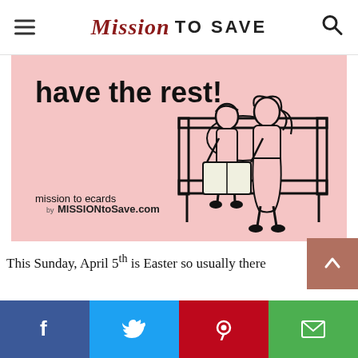Mission TO SAVE
[Figure (illustration): Pink ecard illustration showing two women sitting together on a bench reading a book. Text reads 'have the rest!' at the top and 'mission to ecards by MISSIONtoSave.com' at the bottom left.]
This Sunday, April 5th is Easter so usually there
[Figure (other): Social share bar with Facebook, Twitter, Pinterest, and email buttons at the bottom of the page]